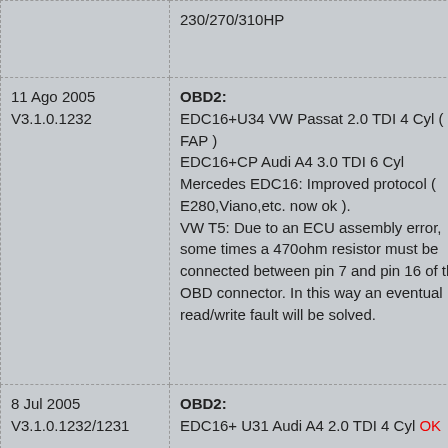| Date/Version | Details |
| --- | --- |
|  | 230/270/310HP |
| 11 Ago 2005
V3.1.0.1232 | OBD2:
EDC16+U34 VW Passat 2.0 TDI 4 Cyl ( no FAP )
EDC16+CP Audi A4 3.0 TDI 6 Cyl
Mercedes EDC16: Improved protocol ( E280,Viano,etc. now ok ).
VW T5: Due to an ECU assembly error, some times a 470ohm resistor must be connected between pin 7 and pin 16 of the OBD connector. In this way an eventual read/write fault will be solved. |
| 8 Jul 2005
V3.1.0.1232/1231 | OBD2:
EDC16+ U31 Audi A4 2.0 TDI 4 Cyl OK |